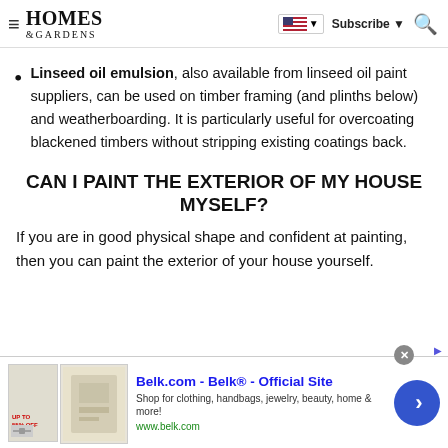HOMES & GARDENS — Subscribe
Linseed oil emulsion, also available from linseed oil paint suppliers, can be used on timber framing (and plinths below) and weatherboarding. It is particularly useful for overcoating blackened timbers without stripping existing coatings back.
CAN I PAINT THE EXTERIOR OF MY HOUSE MYSELF?
If you are in good physical shape and confident at painting, then you can paint the exterior of your house yourself.
[Figure (screenshot): Advertisement banner: Belk.com - Belk® - Official Site. Shop for clothing, handbags, jewelry, beauty, home & more! www.belk.com]